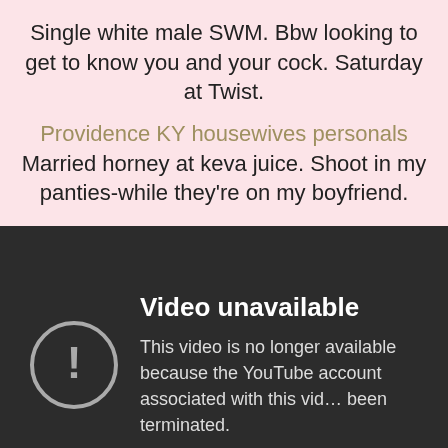Single white male SWM. Bbw looking to get to know you and your cock. Saturday at Twist.
Providence KY housewives personals  Married horney at keva juice. Shoot in my panties-while they're on my boyfriend.
[Figure (screenshot): YouTube 'Video unavailable' error screen on dark background with exclamation icon in circle and text: 'This video is no longer available because the YouTube account associated with this video has been terminated.']